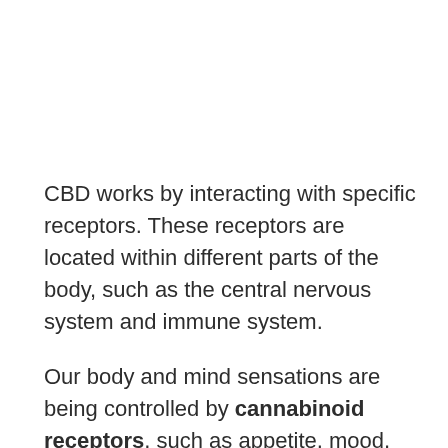CBD works by interacting with specific receptors. These receptors are located within different parts of the body, such as the central nervous system and immune system.
Our body and mind sensations are being controlled by cannabinoid receptors, such as appetite, mood, pain, sensation and memory that are designed to interact with Cannabinoids in plants that in turn are produced by the brain